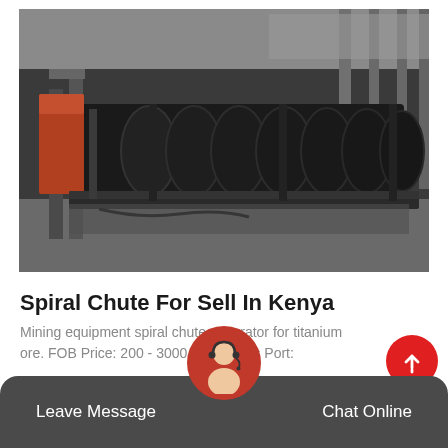[Figure (photo): Industrial photo of a large spiral chute separator machine, black heavy equipment on a factory floor with structural steel framing visible in the background]
Spiral Chute For Sell In Kenya
Mining equipment spiral chute separator for titanium ore. FOB Price: 200 - 3000 USD / Sets Port:
Details+
Leave Message   Chat Online